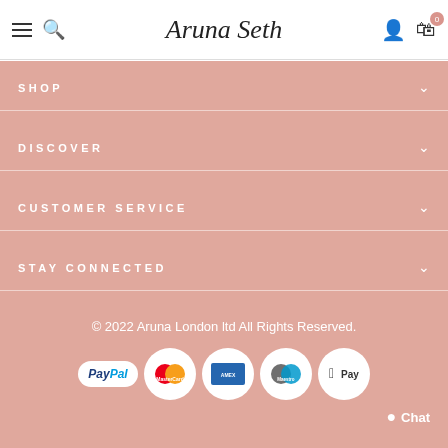Aruna Seth — navigation header with hamburger menu, search, logo, user icon, and cart (0)
SHOP
DISCOVER
CUSTOMER SERVICE
STAY CONNECTED
© 2022 Aruna London ltd All Rights Reserved.
[Figure (logo): Payment method logos: PayPal, MasterCard, American Express, Maestro, Apple Pay]
Chat